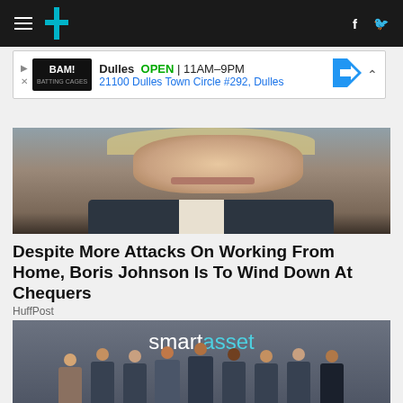HuffPost navigation bar with hamburger menu, HuffPost logo, Facebook and Twitter icons
[Figure (screenshot): Advertisement banner: BAM! logo, Dulles OPEN 11AM-9PM, 21100 Dulles Town Circle #292, Dulles, with navigation arrow icon]
[Figure (photo): Close-up photo of Boris Johnson's face from chin/mouth level with blond hair visible at top]
Despite More Attacks On Working From Home, Boris Johnson Is To Wind Down At Chequers
HuffPost
[Figure (photo): Group photo of approximately 9-10 people standing in front of a SmartAsset branded wall sign. People wearing SmartAsset branded t-shirts.]